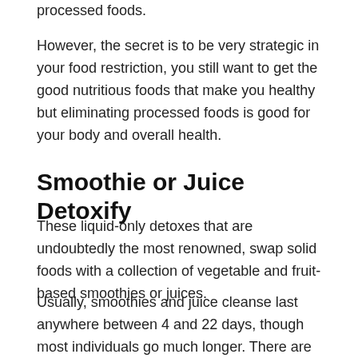processed foods.
However, the secret is to be very strategic in your food restriction, you still want to get the good nutritious foods that make you healthy but eliminating processed foods is good for your body and overall health.
Smoothie or Juice Detoxify
These liquid-only detoxes that are undoubtedly the most renowned, swap solid foods with a collection of vegetable and fruit-based smoothies or juices.
Usually, smoothies and juice cleanse last anywhere between 4 and 22 days, though most individuals go much longer. There are several companies and vendors out there that sell these types of cleanses or detoxes. You could as well purchase smoothies and juices from a specialized vendor or